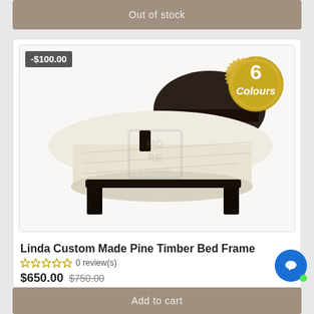Out of stock
[Figure (photo): Dark espresso pine timber bed frame with white mattress, angled product photo. Discount badge '-$100.00' top left. Gold seal badge '6 Colours' top right. 'MORE Furniture' watermark on image.]
Linda Custom Made Pine Timber Bed Frame
0 review(s)
$650.00 $750.00
Available
Add to cart